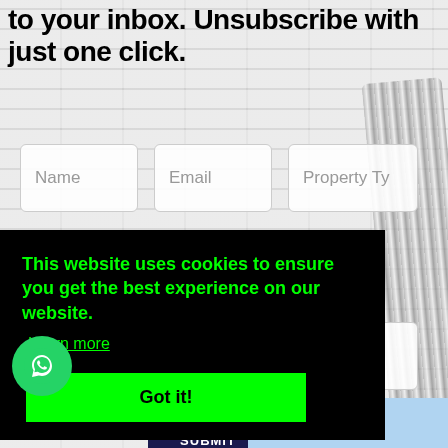to your inbox. Unsubscribe with just one click.
[Figure (screenshot): Web form with fields: Name, Email, Property Type, No. Beds, Budget, Area and a submit button, on a white brick background with metallic hose]
This website uses cookies to ensure you get the best experience on our website.
Learn more
Got it!